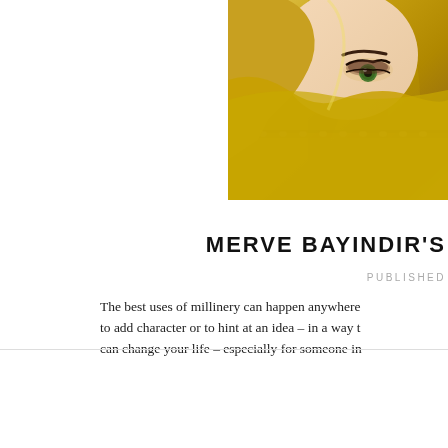[Figure (photo): A woman with green eyes and dramatic eye makeup, wrapped in a golden/yellow veil or fabric with decorative trim, partially obscuring her lower face. The image is cropped to show the upper portion of the face prominently.]
MERVE BAYINDIR'S
PUBLISHED
The best uses of millinery can happen anywhere to add character or to hint at an idea – in a way that can change your life – especially for someone in